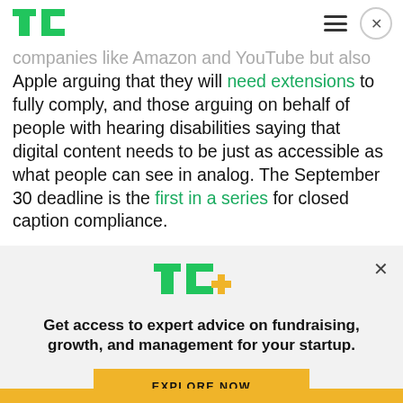TechCrunch header with logo, hamburger menu, and close button
companies like Amazon and YouTube but also Apple arguing that they will need extensions to fully comply, and those arguing on behalf of people with hearing disabilities saying that digital content needs to be just as accessible as what people can see in analog. The September 30 deadline is the first in a series for closed caption compliance.
[Figure (logo): TC+ TechCrunch Plus logo with green TC and yellow plus sign]
Get access to expert advice on fundraising, growth, and management for your startup.
EXPLORE NOW